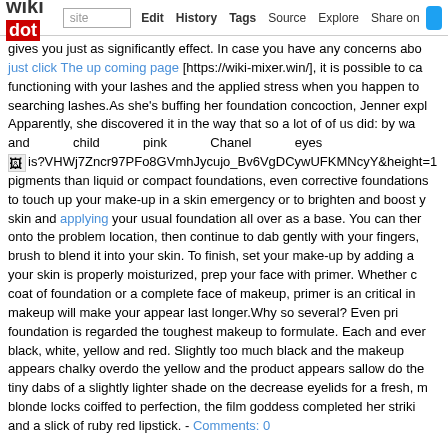wikidot | site | Edit | History | Tags | Source | Explore | Share on [Twitter]
gives you just as significantly effect. In case you have any concerns abo just click The up coming page [https://wiki-mixer.win/], it is possible to ca functioning with your lashes and the applied stress when you happen to searching lashes. As she's buffing her foundation concoction, Jenner expl Apparently, she discovered it in the way that so a lot of us did: by wa and child pink Chanel eyes [image] pigments than liquid or compact foundations, even corrective foundations to touch up your make-up in a skin emergency or to brighten and boost y skin and applying your usual foundation all over as a base. You can ther onto the problem location, then continue to dab gently with your fingers, brush to blend it into your skin. To finish, set your make-up by adding a your skin is properly moisturized, prep your face with primer. Whether c coat of foundation or a complete face of makeup, primer is an critical in makeup will make your appear last longer. Why so several? Even pri foundation is regarded the toughest makeup to formulate. Each and ever black, white, yellow and red. Slightly too much black and the makeup appears chalky overdo the yellow and the product appears sallow do the tiny dabs of a slightly lighter shade on the decrease eyelids for a fresh, m blonde locks coiffed to perfection, the film goddess completed her striki and a slick of ruby red lipstick. - Comments: 0
Travel - 20 July 2018, 06:03
Tags:
If you have to seek advice from a guidebook, maintain it wrapped in a ne cover in brown paper before leaving residence. You could wish to elimina fo id b d f i t d li th d